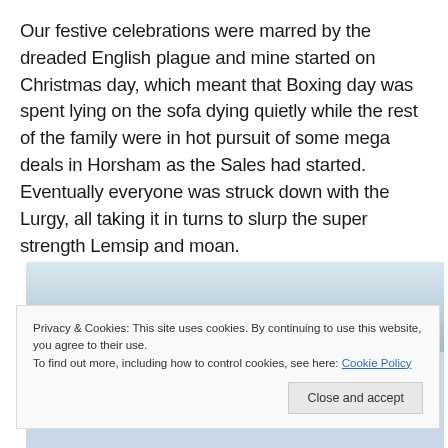Our festive celebrations were marred by the dreaded English plague and mine started on Christmas day, which meant that Boxing day was spent lying on the sofa dying quietly while the rest of the family were in hot pursuit of some mega deals in Horsham as the Sales had started. Eventually everyone was struck down with the Lurgy, all taking it in turns to slurp the super strength Lemsip and moan.
[Figure (photo): Partial view of a photo, mostly obscured by a cookie consent banner. Shows a light blue/grey indoor scene with what appears to be a room or interior space.]
Privacy & Cookies: This site uses cookies. By continuing to use this website, you agree to their use.
To find out more, including how to control cookies, see here: Cookie Policy
Close and accept